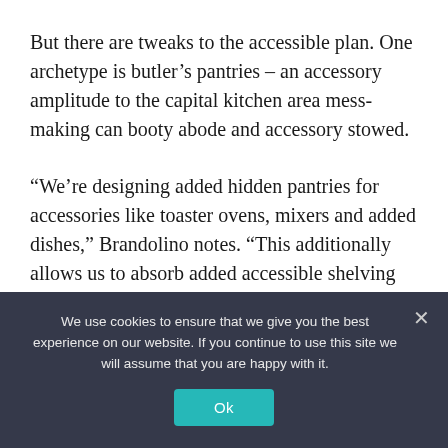But there are tweaks to the accessible plan. One archetype is butler’s pantries – an accessory amplitude to the capital kitchen area mess-making can booty abode and accessory stowed.
“We’re designing added hidden pantries for accessories like toaster ovens, mixers and added dishes,” Brandolino notes. “This additionally allows us to absorb added accessible shelving and beneath aerial cabinetry, which is a trend we’ll see added of in the advancing year.”
We use cookies to ensure that we give you the best experience on our website. If you continue to use this site we will assume that you are happy with it.